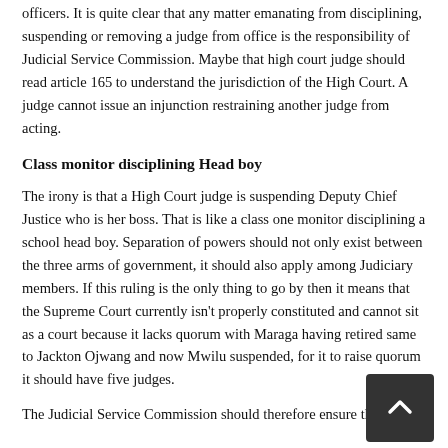officers. It is quite clear that any matter emanating from disciplining, suspending or removing a judge from office is the responsibility of Judicial Service Commission. Maybe that high court judge should read article 165 to understand the jurisdiction of the High Court. A judge cannot issue an injunction restraining another judge from acting.
Class monitor disciplining Head boy
The irony is that a High Court judge is suspending Deputy Chief Justice who is her boss. That is like a class one monitor disciplining a school head boy. Separation of powers should not only exist between the three arms of government, it should also apply among Judiciary members. If this ruling is the only thing to go by then it means that the Supreme Court currently isn't properly constituted and cannot sit as a court because it lacks quorum with Maraga having retired same to Jackton Ojwang and now Mwilu suspended, for it to raise quorum it should have five judges.
The Judicial Service Commission should therefore ensure that